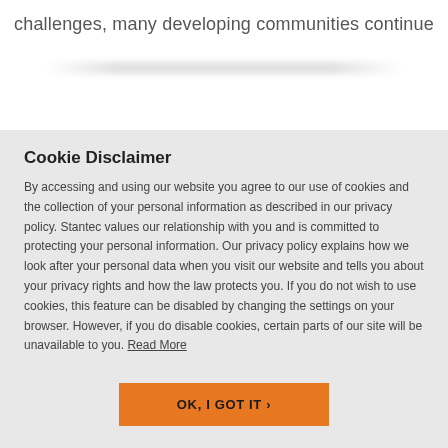challenges, many developing communities continue
Cookie Disclaimer
By accessing and using our website you agree to our use of cookies and the collection of your personal information as described in our privacy policy. Stantec values our relationship with you and is committed to protecting your personal information. Our privacy policy explains how we look after your personal data when you visit our website and tells you about your privacy rights and how the law protects you. If you do not wish to use cookies, this feature can be disabled by changing the settings on your browser. However, if you do disable cookies, certain parts of our site will be unavailable to you. Read More
OK, I GOT IT ›